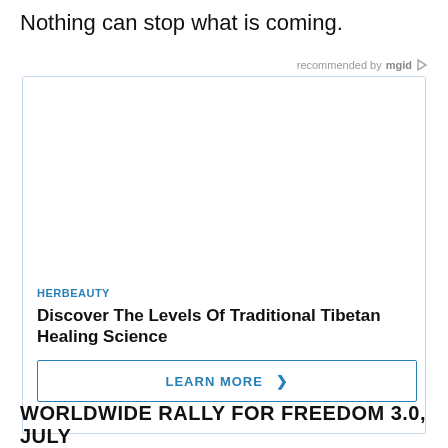Nothing can stop what is coming.
recommended by mgid
[Figure (infographic): Advertisement box with blank white image area, HERBEAUTY brand label, headline 'Discover The Levels Of Traditional Tibetan Healing Science', and a 'LEARN MORE >' button with blue border.]
WORLDWIDE RALLY FOR FREEDOM 3.0, JULY